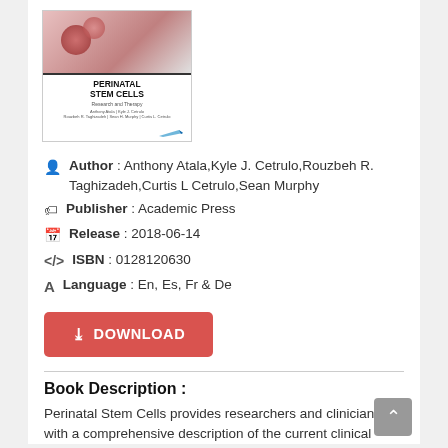[Figure (illustration): Book cover of 'Perinatal Stem Cells: Research and Therapy' showing stem cell imagery at top, bold title text, subtitle, and author names.]
Author : Anthony Atala,Kyle J. Cetrulo,Rouzbeh R. Taghizadeh,Curtis L Cetrulo,Sean Murphy
Publisher : Academic Press
Release : 2018-06-14
ISBN : 0128120630
Language : En, Es, Fr & De
DOWNLOAD
Book Description :
Perinatal Stem Cells provides researchers and clinicians with a comprehensive description of the current clinical